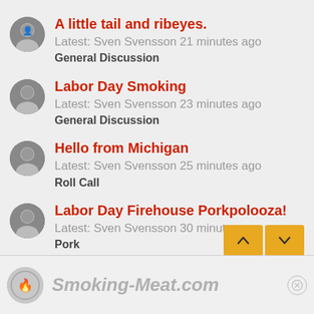A little tail and ribeyes.
Latest: Sven Svensson 21 minutes ago
General Discussion
Labor Day Smoking
Latest: Sven Svensson 23 minutes ago
General Discussion
Hello from Michigan
Latest: Sven Svensson 25 minutes ago
Roll Call
Labor Day Firehouse Porkpolooza!
Latest: Sven Svensson 30 minutes ago
Pork
[Figure (screenshot): Footer with Smoking-Meat.com logo and watermark]
Smoking-Meat.com